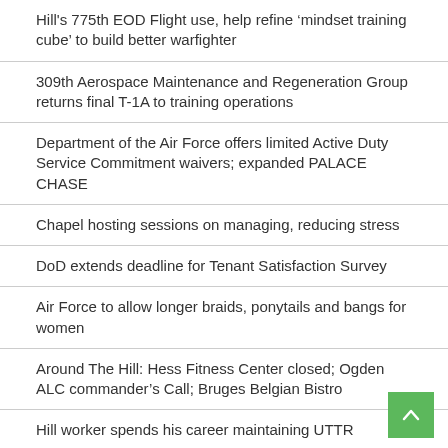Hill's 775th EOD Flight use, help refine ‘mindset training cube’ to build better warfighter
309th Aerospace Maintenance and Regeneration Group returns final T-1A to training operations
Department of the Air Force offers limited Active Duty Service Commitment waivers; expanded PALACE CHASE
Chapel hosting sessions on managing, reducing stress
DoD extends deadline for Tenant Satisfaction Survey
Air Force to allow longer braids, ponytails and bangs for women
Around The Hill: Hess Fitness Center closed; Ogden ALC commander’s Call; Bruges Belgian Bistro
Hill worker spends his career maintaining UTTR
Hill’s Physical Therapy Clinic gets rehabilitated
Hill’s Family Advocacy opens ‘comfort room’ for Airmen